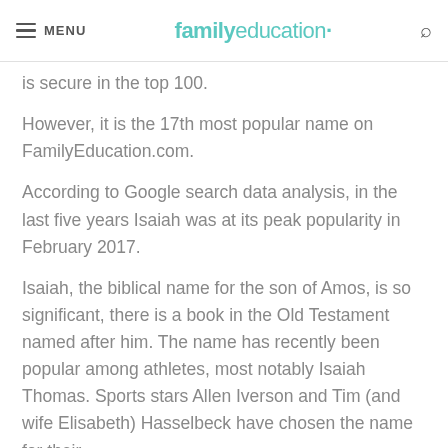MENU | familyeducation
is secure in the top 100.
However, it is the 17th most popular name on FamilyEducation.com.
According to Google search data analysis, in the last five years Isaiah was at its peak popularity in February 2017.
Isaiah, the biblical name for the son of Amos, is so significant, there is a book in the Old Testament named after him. The name has recently been popular among athletes, most notably Isaiah Thomas. Sports stars Allen Iverson and Tim (and wife Elisabeth) Hasselbeck have chosen the name for their